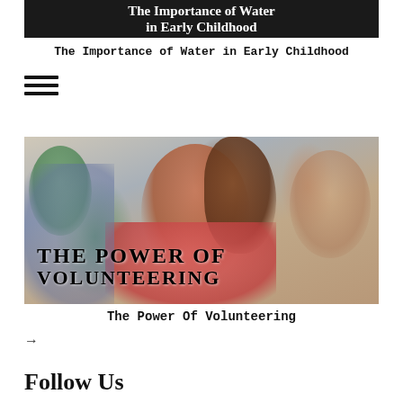[Figure (photo): Banner image with text overlay reading 'The Importance of Water in Early Childhood' on dark background]
The Importance of Water in Early Childhood
[Figure (other): Hamburger menu icon with three horizontal lines]
[Figure (photo): Photo of a smiling girl in a pink shirt with text overlay 'THE POWER OF VOLUNTEERING']
The Power Of Volunteering
→
Follow Us